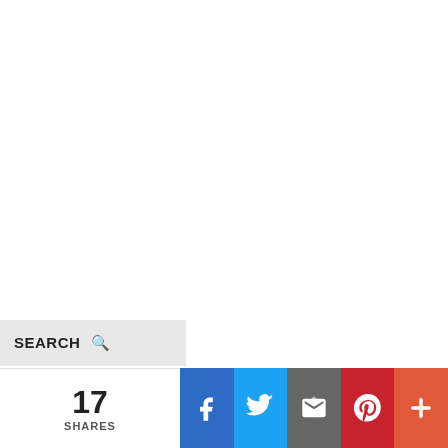SEARCH
17 SHARES
[Figure (infographic): Social share bar with Facebook, Twitter, Email, Pinterest, and More buttons showing 17 shares]